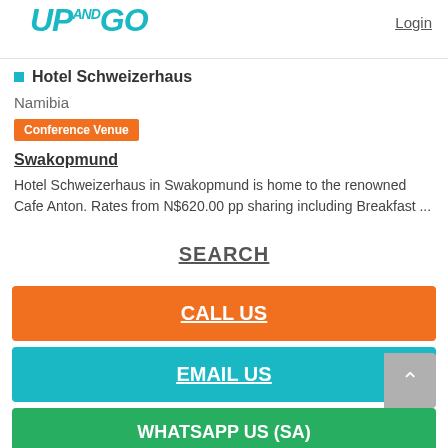UP AND GO | Login
Hotel Schweizerhaus
Namibia
Conference Venue
Swakopmund
Hotel Schweizerhaus in Swakopmund is home to the renowned Cafe Anton. Rates from N$620.00 pp sharing including Breakfast ...
SEARCH
CALL US
EMAIL US
WHATSAPP US (SA)